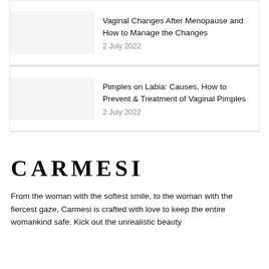Vaginal Changes After Menopause and How to Manage the Changes
2 July 2022
Pimples on Labia: Causes, How to Prevent & Treatment of Vaginal Pimples
2 July 2022
CARMESI
From the woman with the softest smile, to the woman with the fiercest gaze, Carmesi is crafted with love to keep the entire womankind safe. Kick out the unrealistic beauty